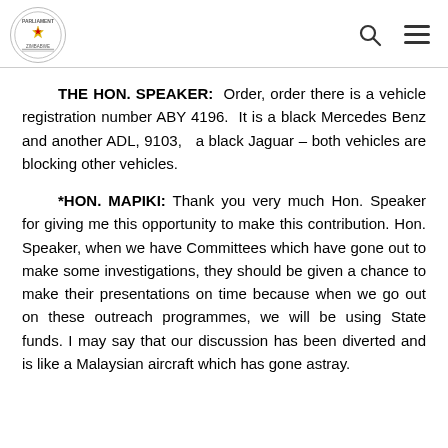Parliament of Zimbabwe header with logo, search icon, and menu icon
THE HON. SPEAKER: Order, order there is a vehicle registration number ABY 4196. It is a black Mercedes Benz and another ADL, 9103, a black Jaguar – both vehicles are blocking other vehicles.
*HON. MAPIKI: Thank you very much Hon. Speaker for giving me this opportunity to make this contribution. Hon. Speaker, when we have Committees which have gone out to make some investigations, they should be given a chance to make their presentations on time because when we go out on these outreach programmes, we will be using State funds. I may say that our discussion has been diverted and is like a Malaysian aircraft which has gone astray.